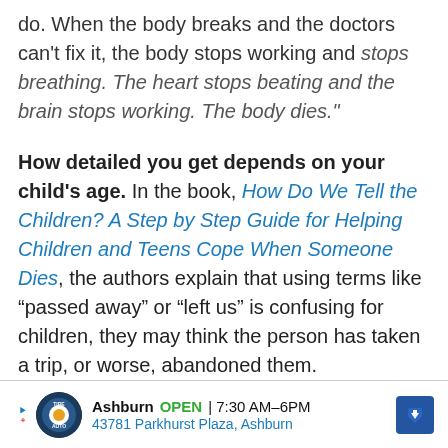do. When the body breaks and the doctors can't fix it, the body stops working and stops breathing. The heart stops beating and the brain stops working. The body dies."
How detailed you get depends on your child's age. In the book, How Do We Tell the Children? A Step by Step Guide for Helping Children and Teens Cope When Someone Dies, the authors explain that using terms like “passed away” or “left us” is confusing for children, they may think the person has taken a trip, or worse, abandoned them.
[Figure (other): Advertisement banner: TireAuto logo, Ashburn location, OPEN 7:30AM-6PM, 43781 Parkhurst Plaza Ashburn, navigation arrow icon]